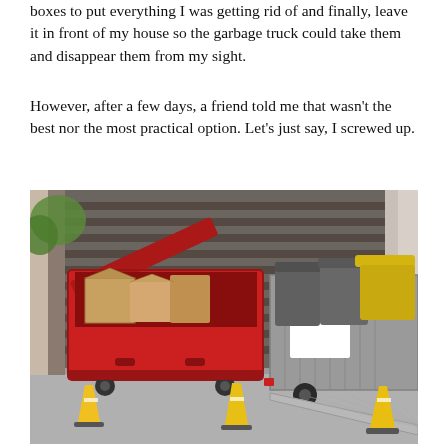boxes to put everything I was getting rid of and finally, leave it in front of my house so the garbage truck could take them and disappear them from my sight.
However, after a few days, a friend told me that wasn't the best nor the most practical option. Let's just say, I screwed up.
[Figure (photo): A red open dumpster filled with cardboard boxes, grey wheelie bins being loaded onto a truck ramp, yellow traffic cones on a concrete surface, with a wooden fence wall in the background.]